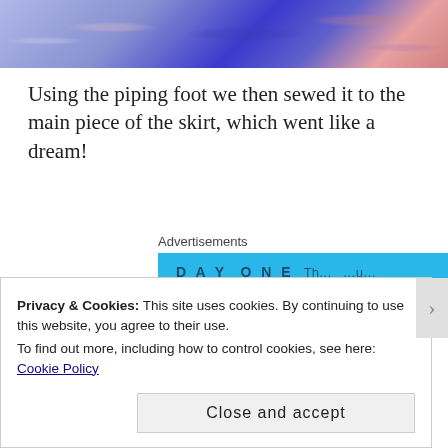[Figure (photo): Top portion of a photo showing a purple/blue fabric with floral pattern and a hand holding it]
Using the piping foot we then sewed it to the main piece of the skirt, which went like a dream!
Advertisements
[Figure (screenshot): Advertisement banner in cyan/blue with text DAY ONE and partial text]
[Figure (photo): Close-up photo of fabric being sewn, dark blue and brown/copper tones]
Privacy & Cookies: This site uses cookies. By continuing to use this website, you agree to their use.
To find out more, including how to control cookies, see here: Cookie Policy
Close and accept